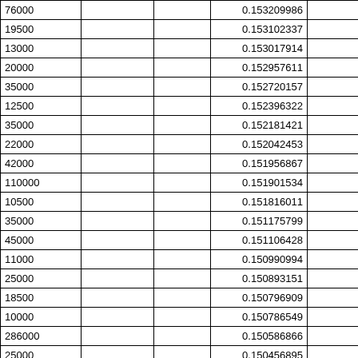| 76000 |  |  | 0.153209986 |  |
| 19500 |  |  | 0.153102337 |  |
| 13000 |  |  | 0.153017914 |  |
| 20000 |  |  | 0.152957611 |  |
| 35000 |  |  | 0.152720157 |  |
| 12500 |  |  | 0.152396322 |  |
| 35000 |  |  | 0.152181421 |  |
| 22000 |  |  | 0.152042453 |  |
| 42000 |  |  | 0.151956867 |  |
| 110000 |  |  | 0.151901534 |  |
| 10500 |  |  | 0.151816011 |  |
| 35000 |  |  | 0.151175799 |  |
| 45000 |  |  | 0.151106428 |  |
| 11000 |  |  | 0.150990994 |  |
| 25000 |  |  | 0.150893151 |  |
| 18500 |  |  | 0.150796909 |  |
| 10000 |  |  | 0.150786549 |  |
| 286000 |  |  | 0.150586866 |  |
| 25000 |  |  | 0.150456895 |  |
| 35000 |  |  | 0.150293542 |  |
| 25000 |  |  | 0.149984071 |  |
| 120000 |  |  | 0.149958856 |  |